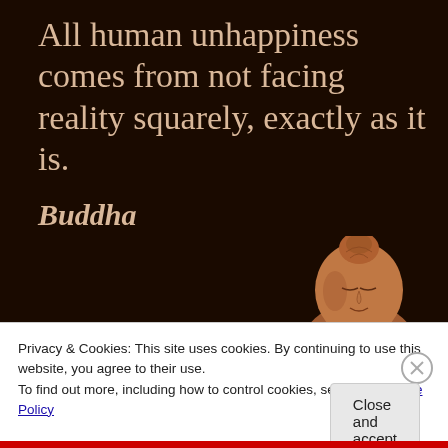[Figure (illustration): Dark brown/black background with a large quote in serif font and a Buddha statue head visible in the lower right]
Privacy & Cookies: This site uses cookies. By continuing to use this website, you agree to their use.
To find out more, including how to control cookies, see here: Cookie Policy
Close and accept